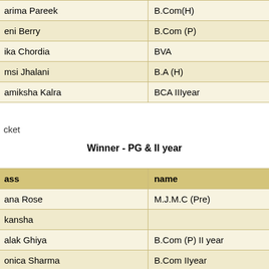| class | name |
| --- | --- |
| arima Pareek | B.Com(H) |
| eni Berry | B.Com (P) |
| ika Chordia | BVA |
| msi Jhalani | B.A (H) |
| amiksha Kalra | BCA IIIyear |
cket
Winner - PG & II year
| ass | name |
| --- | --- |
| ana Rose | M.J.M.C (Pre) |
| kansha |  |
| alak Ghiya | B.Com (P) II year |
| onica Sharma | B.Com IIyear |
| ulvinder Kaur | B.Sc IIyear |